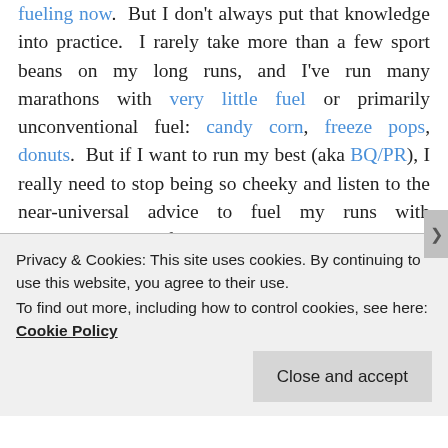fueling now.  But I don't always put that knowledge into practice.  I rarely take more than a few sport beans on my long runs, and I've run many marathons with very little fuel or primarily unconventional fuel: candy corn, freeze pops, donuts.  But if I want to run my best (aka BQ/PR), I really need to stop being so cheeky and listen to the near-universal advice to fuel my runs with maltodextrin.  So for my long run this weekend, I had a arguably healthy Dr. Praeger's uncrustable before going out, took a Gu around mile 5, and popped Stinger gummies every few miles after that.  OK, OK.  Y'all win.  I get it.  This makes a difference.  Especially that Gu around mile 5.  I felt totally fresh for way, way more miles than I usually do.  Was it delicious?  Nope.  But we
Privacy & Cookies: This site uses cookies. By continuing to use this website, you agree to their use. To find out more, including how to control cookies, see here: Cookie Policy
Close and accept